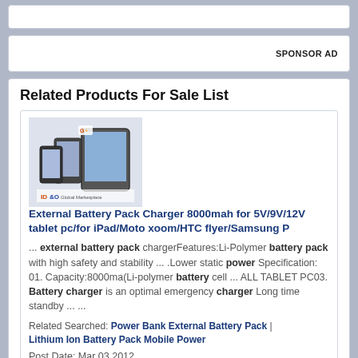SPONSOR AD
Related Products For Sale List
[Figure (photo): Product image of external battery pack charger with tablet devices and smartphones, showing ID&O branding]
External Battery Pack Charger 8000mah for 5V/9V/12V tablet pc/for iPad/Moto xoom/HTC flyer/Samsung P
... external battery pack chargerFeatures:Li-Polymer battery pack with high safety and stability ... .Lower static power Specification: 01. Capacity:8000ma(Li-polymer battery cell ... ALL TABLET PC03. Battery charger is an optimal emergency charger Long time standby ... ...
Related Searched: Power Bank External Battery Pack | Lithium Ion Battery Pack Mobile Power
Post Date: Mar 03,2012
China